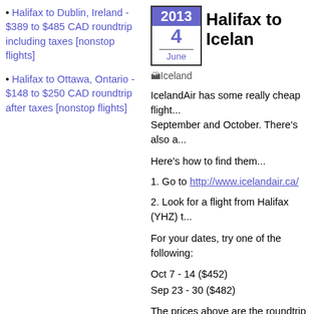• Halifax to Dublin, Ireland - $389 to $485 CAD roundtrip including taxes [nonstop flights]
• Halifax to Ottawa, Ontario - $148 to $250 CAD roundtrip after taxes [nonstop flights]
Halifax to Iceland
[Figure (other): Iceland flag image placeholder]
IcelandAir has some really cheap flight... September and October. There's also a...
Here's how to find them...
1. Go to http://www.icelandair.ca/
2. Look for a flight from Halifax (YHZ) t...
For your dates, try one of the following:
Oct 7 - 14 ($452)
Sep 23 - 30 ($482)
The prices above are the roundtrip afte... code.